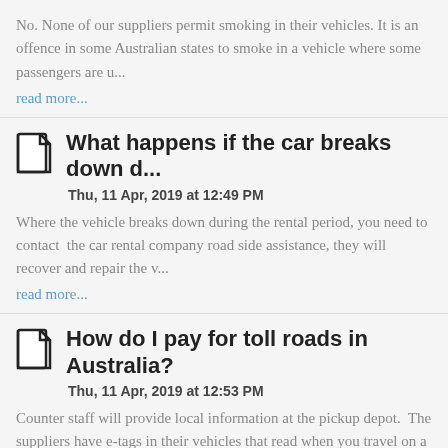No. None of our suppliers permit smoking in their vehicles. It is an offence in some Australian states to smoke in a vehicle where some passengers are u...
read more...
What happens if the car breaks down d...
Thu, 11 Apr, 2019 at 12:49 PM
Where the vehicle breaks down during the rental period, you need to contact  the car rental company road side assistance, they will recover and repair the v...
read more...
How do I pay for toll roads in Australia?
Thu, 11 Apr, 2019 at 12:53 PM
Counter staff will provide local information at the pickup depot.  The suppliers have e-tags in their vehicles that read when you travel on a toll road,...